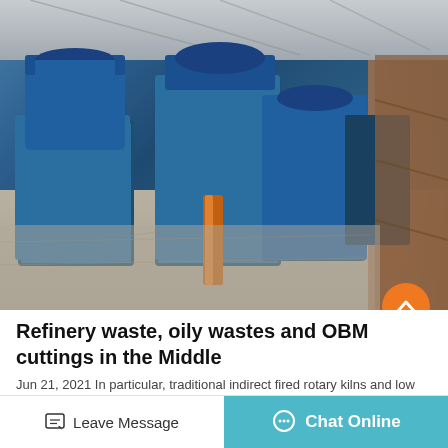[Figure (photo): Industrial manufacturing facility interior showing large blue heavy machinery (mills or rollers) on a concrete floor inside a steel-frame warehouse building. Orange pipe visible in foreground, brown structural scaffolding on the right side.]
Refinery waste, oily wastes and OBM cuttings in the Middle
Jun 21, 2021 In particular, traditional indirect fired rotary kilns and low Pressure distillation...